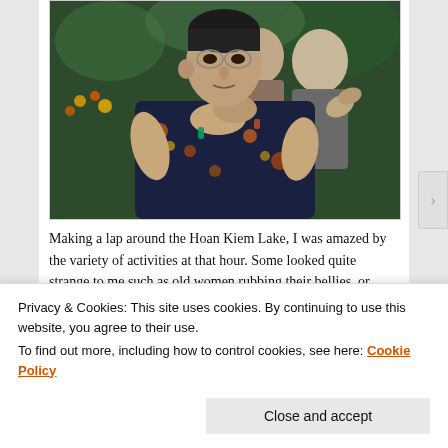[Figure (photo): Elderly women practicing tai chi or similar exercise outdoors near Hoan Kiem Lake, Vietnam. The foreground woman wears a dark floral blouse and glasses, hands positioned in a martial arts pose. Others are visible in the background.]
Making a lap around the Hoan Kiem Lake, I was amazed by the variety of activities at that hour. Some looked quite strange to me such as old women rubbing their bellies, or men using trees as their kungfu training
Privacy & Cookies: This site uses cookies. By continuing to use this website, you agree to their use.
To find out more, including how to control cookies, see here: Cookie Policy
Close and accept